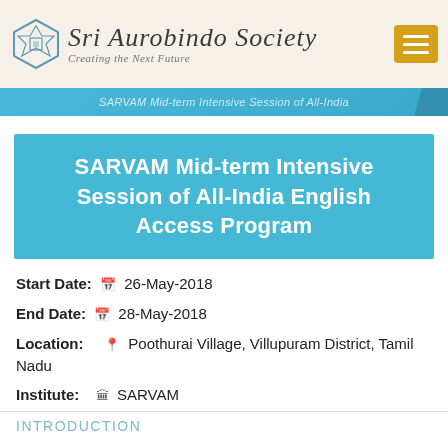Sri Aurobindo Society — Creating the Next Future
SARVAM Mid-term Intensive Session of All-India
SARVAM Mid-term Intensive Session of All-India English Access Program
Start Date: 26-May-2018
End Date: 28-May-2018
Location: Poothurai Village, Villupuram District, Tamil Nadu
Institute: SARVAM
INTRODUCTION